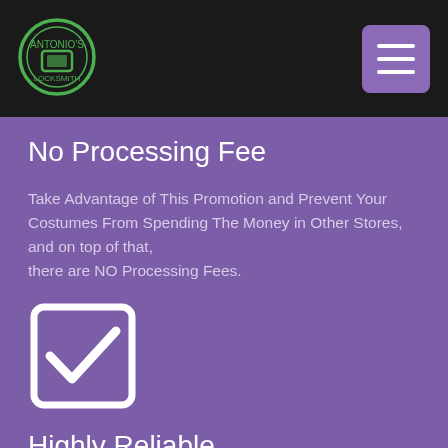[Figure (logo): Circular green and black logo in top left navigation bar]
[Figure (other): Hamburger menu button (three horizontal lines) in a purple rounded rectangle in top right navigation bar]
No Processing Fee
Take Advantage of This Promotion and Prevent Your Costumes From Spending The Money in Other Stores, and on top of that,
there are NO Processing Fees.
[Figure (illustration): White checkbox icon with checkmark inside a rounded square outline]
Highly Reliable